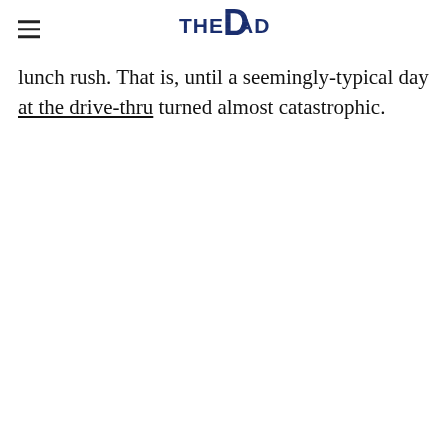THE DAD (logo)
lunch rush. That is, until a seemingly-typical day at the drive-thru turned almost catastrophic.